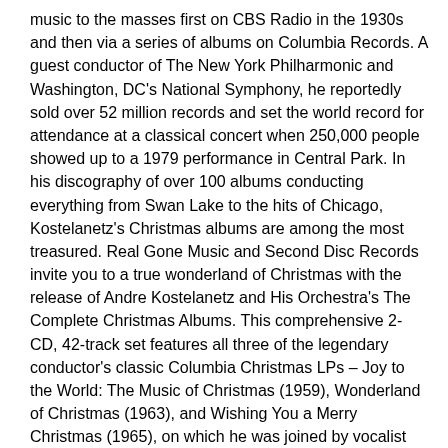music to the masses first on CBS Radio in the 1930s and then via a series of albums on Columbia Records. A guest conductor of The New York Philharmonic and Washington, DC's National Symphony, he reportedly sold over 52 million records and set the world record for attendance at a classical concert when 250,000 people showed up to a 1979 performance in Central Park. In his discography of over 100 albums conducting everything from Swan Lake to the hits of Chicago, Kostelanetz's Christmas albums are among the most treasured. Real Gone Music and Second Disc Records invite you to a true wonderland of Christmas with the release of Andre Kostelanetz and His Orchestra's The Complete Christmas Albums. This comprehensive 2-CD, 42-track set features all three of the legendary conductor's classic Columbia Christmas LPs – Joy to the World: The Music of Christmas (1959), Wonderland of Christmas (1963), and Wishing You a Merry Christmas (1965), on which he was joined by vocalist Phyllis Curtin and The St. Killian Boychoir – plus a host of holiday bonuses. These include Kostelanetz's rare 1950 single of "White Christmas," a complete recording of "The Nutcracker Suite" featuring Peter Ustinov, and additional seasonal favorites from the Kostelanetz catalog. Wishing You a